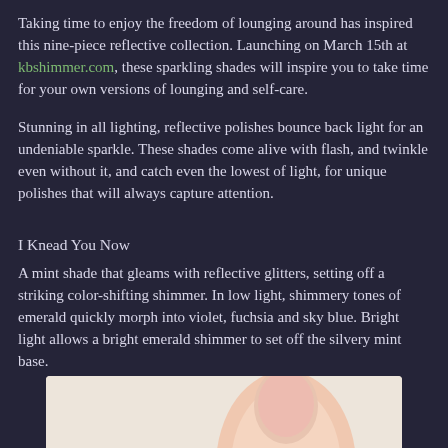Taking time to enjoy the freedom of lounging around has inspired this nine-piece reflective collection. Launching on March 15th at kbshimmer.com, these sparkling shades will inspire you to take time for your own versions of lounging and self-care.
Stunning in all lighting, reflective polishes bounce back light for an undeniable sparkle. These shades come alive with flash, and twinkle even without it, and catch even the lowest of light, for unique polishes that will always capture attention.
I Knead You Now
A mint shade that gleams with reflective glitters, setting off a striking color-shifting shimmer. In low light, shimmery tones of emerald quickly morph into violet, fuchsia and sky blue. Bright light allows a bright emerald shimmer to set off the silvery mint base.
[Figure (photo): Close-up photo of a finger/hand with nail polish against a light background, partially visible at the bottom of the page.]